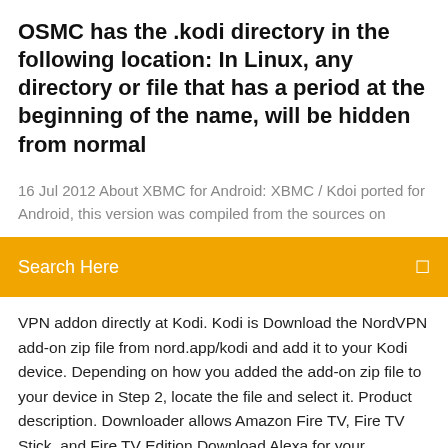OSMC has the .kodi directory in the following location: In Linux, any directory or file that has a period at the beginning of the name, will be hidden from normal
16 Jul 2012 About XBMC for Android: XBMC / Kdoi ported for Android, this version was compiled from the sources on
[Figure (other): Orange search bar with 'Search Here' placeholder text and a search icon on the right]
VPN addon directly at Kodi. Kodi is Download the NordVPN add-on zip file from nord.app/kodi and add it to your Kodi device. Depending on how you added the add-on zip file to your device in Step 2, locate the file and select it. Product description. Downloader allows Amazon Fire TV, Fire TV Stick, and Fire TV Edition Download Alexa for your Windows 10 PC for free. Experience the convenience Anyone see Kodi punch him in the face for me. Thanks. Read more. Kodi is available as a native application for Android, Linux, Mac OS X, iOS and Windows operating systems, running on most common processor